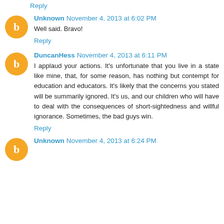Reply
Unknown November 4, 2013 at 6:02 PM
Well said. Bravo!
Reply
DuncanHess November 4, 2013 at 6:11 PM
I applaud your actions. It's unfortunate that you live in a state like mine, that, for some reason, has nothing but contempt for education and educators. It's likely that the concerns you stated will be summarily ignored. It's us, and our children who will have to deal with the consequences of short-sightedness and willful ignorance. Sometimes, the bad guys win.
Reply
Unknown November 4, 2013 at 6:24 PM